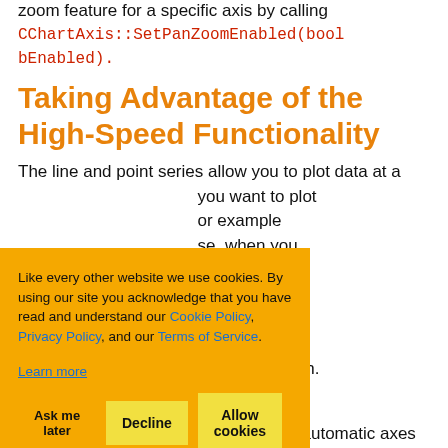zoom feature for a specific axis by calling CChartAxis::SetPanZoomEnabled(bool bEnabled).
Taking Advantage of the High-Speed Functionality
The line and point series allow you to plot data at a very high speed. If you want to plot many thousands of points, for example from a real-time signal source, when you use these series, the tool won't be recalculating axes on the last line render that would be inefficient. This allows the series to generate several million points and still stream data fast enough.
One important thing is that the use of automatic axes